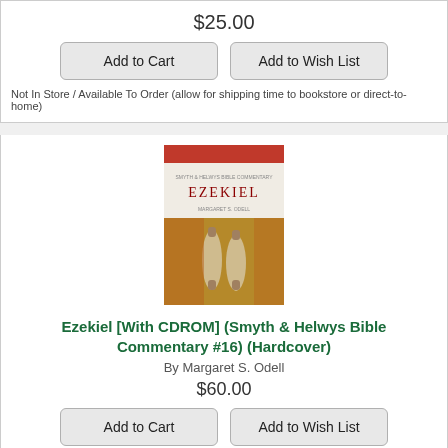$25.00
Add to Cart
Add to Wish List
Not In Store / Available To Order (allow for shipping time to bookstore or direct-to-home)
[Figure (photo): Book cover of Ezekiel with CDROM, Smyth & Helwys Bible Commentary #16, showing Torah scrolls on a tan background with a red stripe at the top]
Ezekiel [With CDROM] (Smyth & Helwys Bible Commentary #16) (Hardcover)
By Margaret S. Odell
$60.00
Add to Cart
Add to Wish List
Backordered